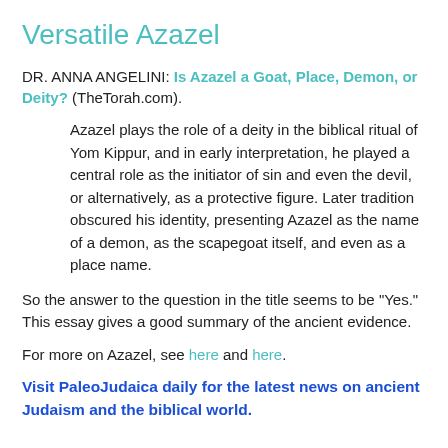Versatile Azazel
DR. ANNA ANGELINI: Is Azazel a Goat, Place, Demon, or Deity? (TheTorah.com).
Azazel plays the role of a deity in the biblical ritual of Yom Kippur, and in early interpretation, he played a central role as the initiator of sin and even the devil, or alternatively, as a protective figure. Later tradition obscured his identity, presenting Azazel as the name of a demon, as the scapegoat itself, and even as a place name.
So the answer to the question in the title seems to be "Yes." This essay gives a good summary of the ancient evidence.
For more on Azazel, see here and here.
Visit PaleoJudaica daily for the latest news on ancient Judaism and the biblical world.